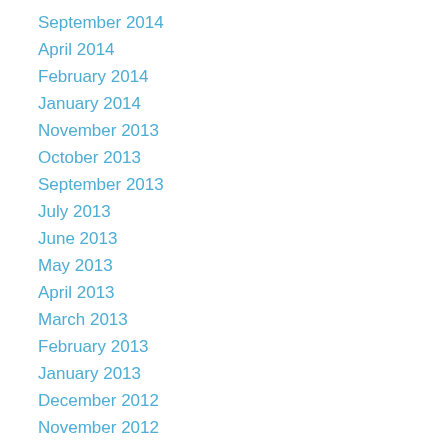September 2014
April 2014
February 2014
January 2014
November 2013
October 2013
September 2013
July 2013
June 2013
May 2013
April 2013
March 2013
February 2013
January 2013
December 2012
November 2012
October 2012
September 2012
August 2012
July 2012